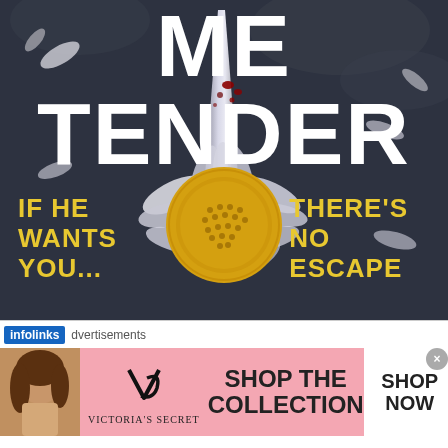[Figure (illustration): Book cover for a thriller novel. Dark blue-grey background with large white bold text 'ME TENDER' at the top. A sunflower with white petals stripped away and only the yellow center disc remaining, impaled by a knife dripping blood. Scattered white torn petals around. Yellow subtitle text on left: 'IF HE WANTS YOU...' and on right: 'THERE'S NO ESCAPE']
[Figure (advertisement): Victoria's Secret advertisement banner with pink background. Shows a model on the left, Victoria's Secret VS logo in the center, 'SHOP THE COLLECTION' text, and a white 'SHOP NOW' button on the right.]
infolinks  dvertisements